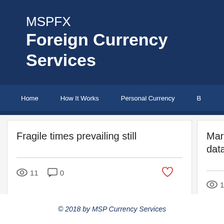MSPFX Foreign Currency Services
Home | How It Works | Personal Currency | B...
Fragile times prevailing still
Markets w... data
© 2018 by MSP Currency Services